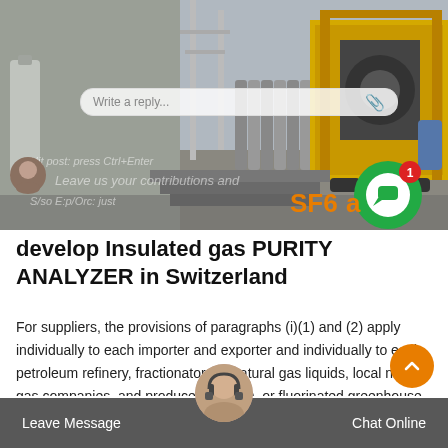[Figure (photo): Industrial scene showing SF6 gas cylinders at a power substation with electrical equipment and a yellow service truck/vehicle]
develop Insulated gas PURITY ANALYZER in Switzerland
For suppliers, the provisions of paragraphs (i)(1) and (2) apply individually to each importer and exporter and individually to each petroleum refinery, fractionators of natural gas liquids, local natural gas companies, and producers of N2O, or fluorinated greenhouse gases from an online or onsite process,